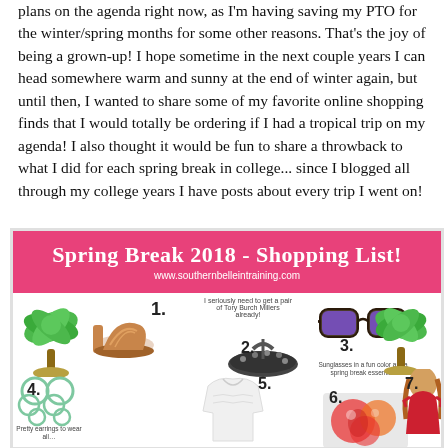plans on the agenda right now, as I'm having saving my PTO for the winter/spring months for some other reasons. That's the joy of being a grown-up! I hope sometime in the next couple years I can head somewhere warm and sunny at the end of winter again, but until then, I wanted to share some of my favorite online shopping finds that I would totally be ordering if I had a tropical trip on my agenda! I also thought it would be fun to share a throwback to what I did for each spring break in college... since I blogged all through my college years I have posts about every trip I went on!
[Figure (infographic): Spring Break 2018 Shopping List infographic with pink header, URL www.southernbelleintraining.com, palm tree decorations, and numbered shopping items including shoes (1), Tory Burch Miller sandals (2), purple sunglasses (3), earrings (4), white top (5), item 6, and item 7 showing a red top.]